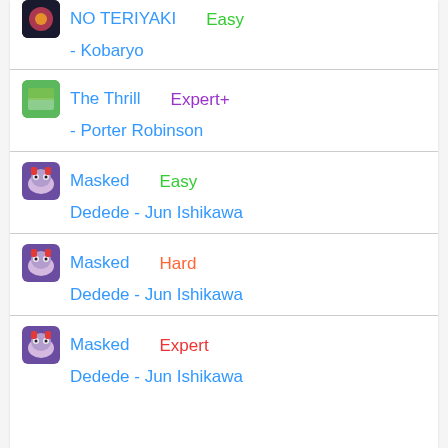NO TERIYAKI - Kobaryo | Easy
The Thrill - Porter Robinson | Expert+
Masked Dedede - Jun Ishikawa | Easy
Masked Dedede - Jun Ishikawa | Hard
Masked Dedede - Jun Ishikawa | Expert